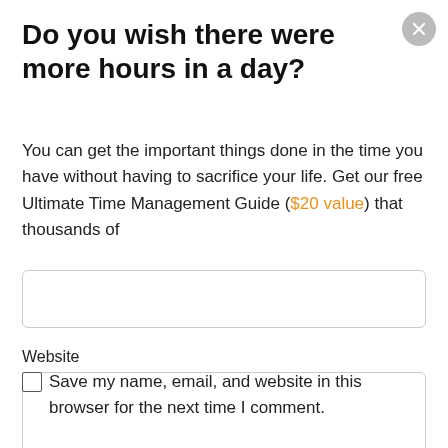Do you wish there were more hours in a day?
You can get the important things done in the time you have without having to sacrifice your life. Get our free Ultimate Time Management Guide ($20 value) that thousands of
Website
Save my name, email, and website in this browser for the next time I comment.